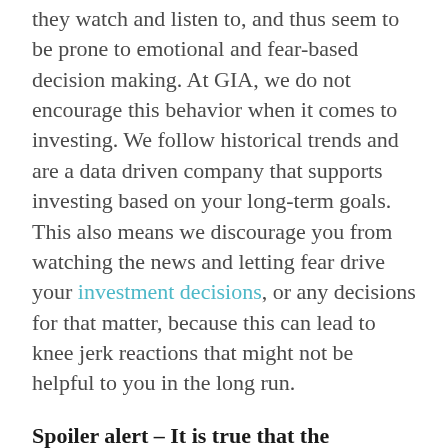they watch and listen to, and thus seem to be prone to emotional and fear-based decision making. At GIA, we do not encourage this behavior when it comes to investing. We follow historical trends and are a data driven company that supports investing based on your long-term goals. This also means we discourage you from watching the news and letting fear drive your investment decisions, or any decisions for that matter, because this can lead to knee jerk reactions that might not be helpful to you in the long run.
Spoiler alert – It is true that the economy and stock market and most publicly traded companies are actually doing really well right now!